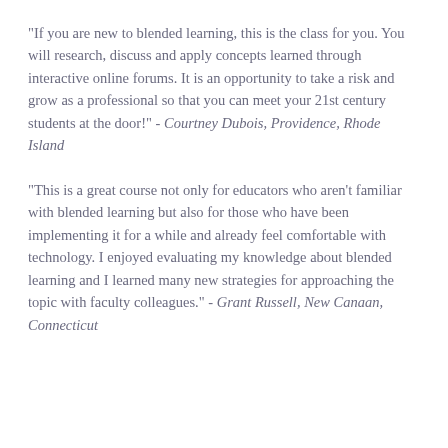"If you are new to blended learning, this is the class for you. You will research, discuss and apply concepts learned through interactive online forums. It is an opportunity to take a risk and grow as a professional so that you can meet your 21st century students at the door!" - Courtney Dubois, Providence, Rhode Island
"This is a great course not only for educators who aren't familiar with blended learning but also for those who have been implementing it for a while and already feel comfortable with technology. I enjoyed evaluating my knowledge about blended learning and I learned many new strategies for approaching the topic with faculty colleagues." - Grant Russell, New Canaan, Connecticut